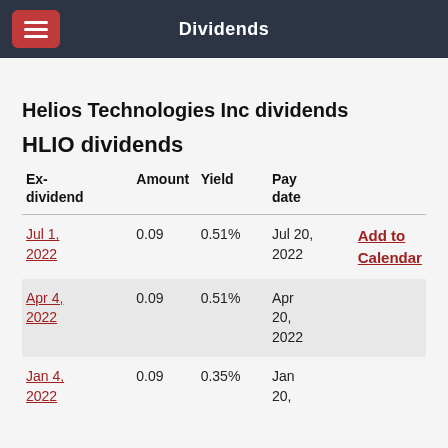Dividends
Helios Technologies Inc dividends
HLIO dividends
| Ex-dividend | Amount | Yield | Pay date |  |
| --- | --- | --- | --- | --- |
| Jul 1, 2022 | 0.09 | 0.51% | Jul 20, 2022 | Add to Calendar |
| Apr 4, 2022 | 0.09 | 0.51% | Apr 20, 2022 |  |
| Jan 4, 2022 | 0.09 | 0.35% | Jan 20, … |  |